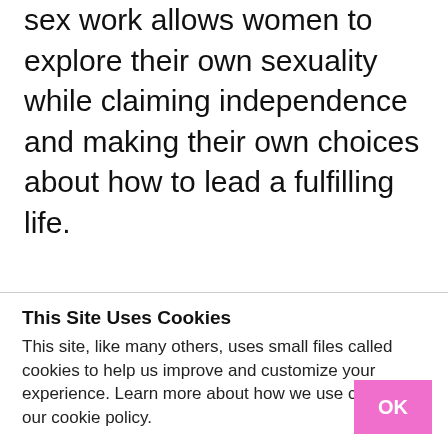sex work allows women to explore their own sexuality while claiming independence and making their own choices about how to lead a fulfilling life.

Whereas the Green Party seems to adopt the stance that women who choose sex work are victims of
This Site Uses Cookies
This site, like many others, uses small files called cookies to help us improve and customize your experience. Learn more about how we use cookies in our cookie policy.